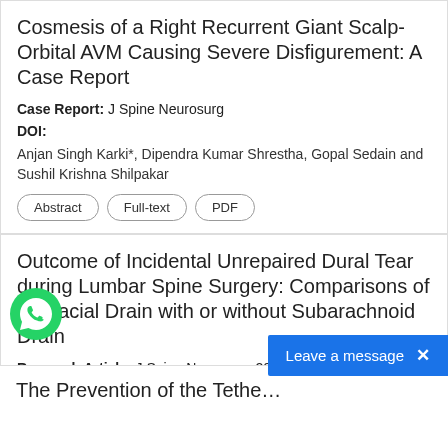Cosmesis of a Right Recurrent Giant Scalp-Orbital AVM Causing Severe Disfigurement: A Case Report
Case Report: J Spine Neurosurg
DOI:
Anjan Singh Karki*, Dipendra Kumar Shrestha, Gopal Sedain and Sushil Krishna Shilpakar
Abstract | Full-text | PDF
Outcome of Incidental Unrepaired Dural Tear during Lumbar Spine Surgery: Comparisons of Subfacial Drain with or without Subarachnoid Drain
Research Article: J Spine Neurosurg 2015, 4:1
DOI:
Javed A Khan, Sandip K Yadav, Rong Tian, Gang Xia, Tiantong and Yutao Jia
Abstract | Full-text | PDF
The Prevention of the Tethe…